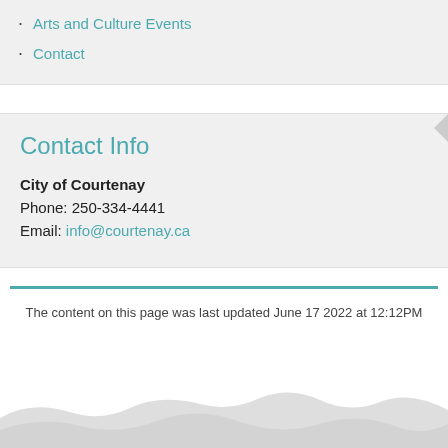Arts and Culture Events
Contact
Contact Info
City of Courtenay
Phone: 250-334-4441
Email: info@courtenay.ca
The content on this page was last updated June 17 2022 at 12:12PM